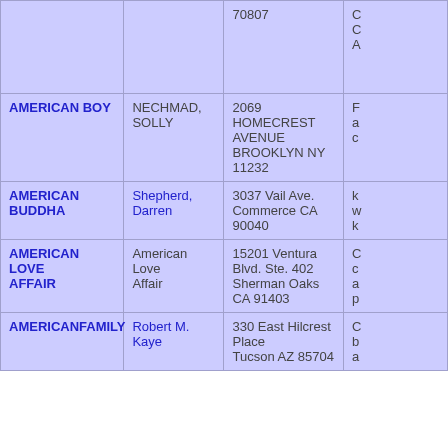| Title | Name | Address | Notes |
| --- | --- | --- | --- |
|  |  | 70807 | C
C
A |
| AMERICAN BOY | NECHMAD, SOLLY | 2069 HOMECREST AVENUE BROOKLYN NY 11232 | F
a
c |
| AMERICAN BUDDHA | Shepherd, Darren | 3037 Vail Ave. Commerce CA 90040 | k
w
k |
| AMERICAN LOVE AFFAIR | American Love Affair | 15201 Ventura Blvd. Ste. 402 Sherman Oaks CA 91403 | C
c
a
p |
| AMERICANFAMILY | Robert M. Kaye | 330 East Hilcrest Place Tucson AZ 85704 | C
b
a |